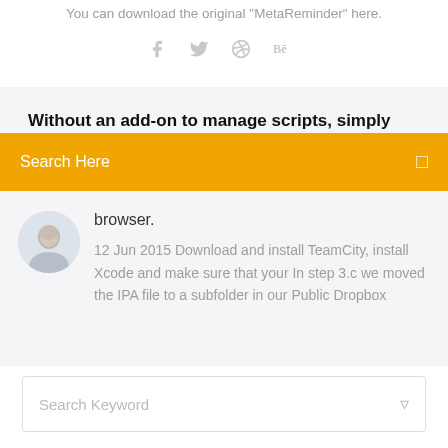You can download the original "MetaReminder" here.
[Figure (infographic): Social media share icons: Facebook (f), Twitter bird, Dribbble, Behance]
Without an add-on to manage scripts, simply
Search Here
browser.
12 Jun 2015 Download and install TeamCity, install Xcode and make sure that your In step 3.c we moved the IPA file to a subfolder in our Public Dropbox
Search Keyword